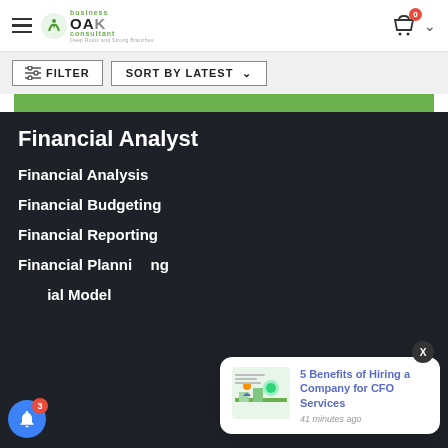OAK business consultant — header with logo, cart and hamburger menu
FILTER | SORT BY LATEST
Financial Analyst
Financial Analysis
Financial Budgeting
Financial Reporting
Financial Planning
Financial Model
[Figure (screenshot): Popup notification showing '5 Benefits of Hiring a Company for CFO Services' with thumbnail image and '41 minutes ago' timestamp]
5 Benefits of Hiring a Company for CFO Services — 41 minutes ago